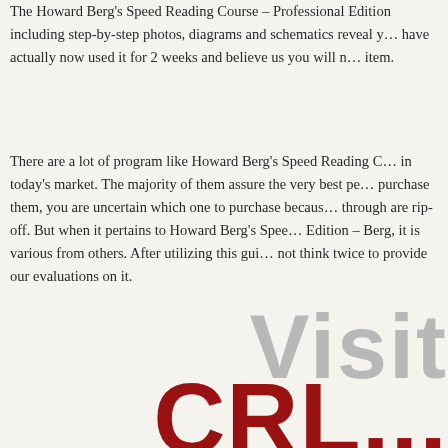The Howard Berg's Speed Reading Course – Professional Edition including step-by-step photos, diagrams and schematics reveal y… have actually now used it for 2 weeks and believe us you will n… item.
There are a lot of program like Howard Berg's Speed Reading C… in today's market. The majority of them assure the very best pe… purchase them, you are uncertain which one to purchase becaus… through are rip-off. But when it pertains to Howard Berg's Spee… Edition – Berg, it is various from others. After utilizing this gui… not think twice to provide our evaluations on it.
[Figure (illustration): Large decorative text showing 'Visit' in gray and partial red bold letters 'CRL...' at the bottom of the page]